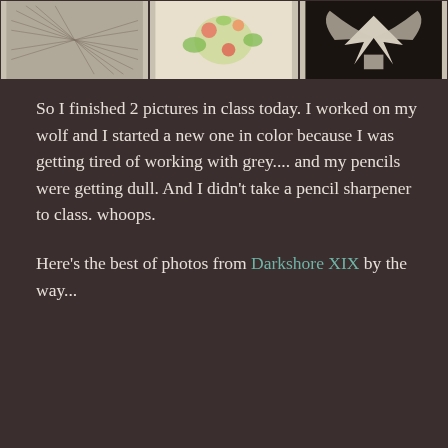[Figure (photo): Three images in a horizontal strip at the top: left shows a detailed line/pattern drawing, center shows a colorful floral illustration, right shows a white winged creature or ornate figure against dark background.]
So I finished 2 pictures in class today. I worked on my wolf and I started a new one in color because I was getting tired of working with grey.... and my pencils were getting dull. And I didn't take a pencil sharpener to class. whoops.
Here's the best of photos from Darkshore XIX by the way...
SHARE THIS:
Twitter   Facebook
Loading...